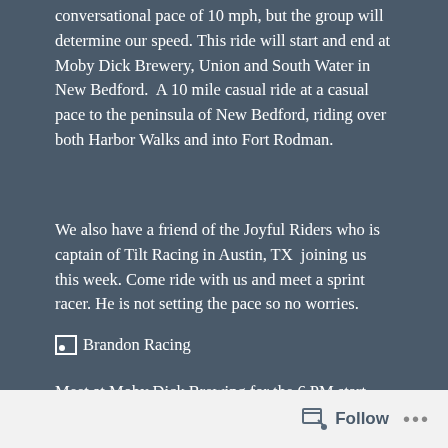conversational pace of 10 mph, but the group will determine our speed. This ride will start and end at Moby Dick Brewery, Union and South Water in New Bedford.  A 10 mile casual ride at a casual pace to the peninsula of New Bedford, riding over both Harbor Walks and into Fort Rodman.
We also have a friend of the Joyful Riders who is captain of Tilt Racing in Austin, TX  joining us this week. Come ride with us and meet a sprint racer. He is not setting the pace so no worries.
[Figure (other): Image placeholder icon with alt text 'Brandon Racing']
Meet at Moby Dick Brewing for the 6 PM start.
Follow